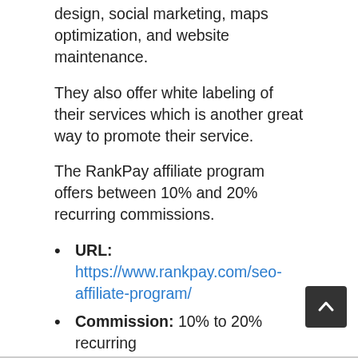design, social marketing, maps optimization, and website maintenance.
They also offer white labeling of their services which is another great way to promote their service.
The RankPay affiliate program offers between 10% and 20% recurring commissions.
URL: https://www.rankpay.com/seo-affiliate-program/
Commission: 10% to 20% recurring
Cookie Length: not disclosed